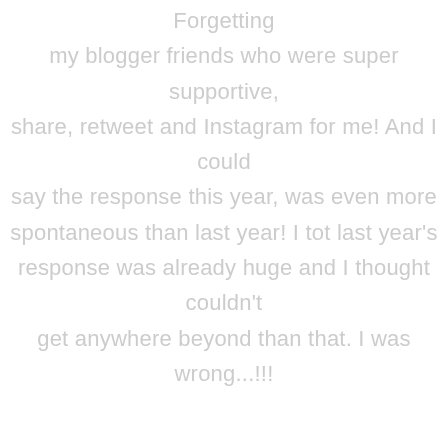Forgetting my blogger friends who were super supportive, share, retweet and Instagram for me! And I could say the response this year, was even more spontaneous than last year! I tot last year's response was already huge and I thought couldn't get anywhere beyond than that. I was wrong...!!!